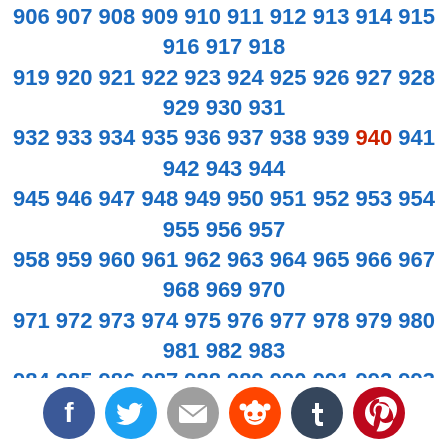906 907 908 909 910 911 912 913 914 915 916 917 918 919 920 921 922 923 924 925 926 927 928 929 930 931 932 933 934 935 936 937 938 939 940 941 942 943 944 945 946 947 948 949 950 951 952 953 954 955 956 957 958 959 960 961 962 963 964 965 966 967 968 969 970 971 972 973 974 975 976 977 978 979 980 981 982 983 984 985 986 987 988 989 990 991 992 993 994 995 996 997 998 999 1000 1001 1002 1003 1004 1005 1006 1007 1008 1009 1010 1011 1012 1013 1014 1015 1016 1017 1018 1019 1020 1021 1022 1023 1024 1025 1026 1027 1028 1029 1030 1031 1032 1033 1034 1035 1036 1037 1038 1039 1040 1041 1042 1043 1044 1045 1046 1047
[Figure (infographic): Social sharing icons: Facebook (blue), Twitter (blue bird), Email (grey envelope), Reddit (orange), Tumblr (dark teal), Pinterest (red)]